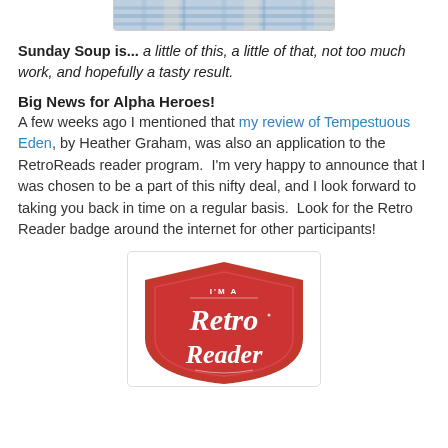[Figure (photo): Top portion of a checkered/plaid fabric photo, partially cropped at top of page]
Sunday Soup is... a little of this, a little of that, not too much work, and hopefully a tasty result.
Big News for Alpha Heroes!
A few weeks ago I mentioned that my review of Tempestuous Eden, by Heather Graham, was also an application to the RetroReads reader program. I'm very happy to announce that I was chosen to be a part of this nifty deal, and I look forward to taking you back in time on a regular basis. Look for the Retro Reader badge around the internet for other participants!
[Figure (logo): Red shield-shaped badge with white text reading I'M A Retro Reader]